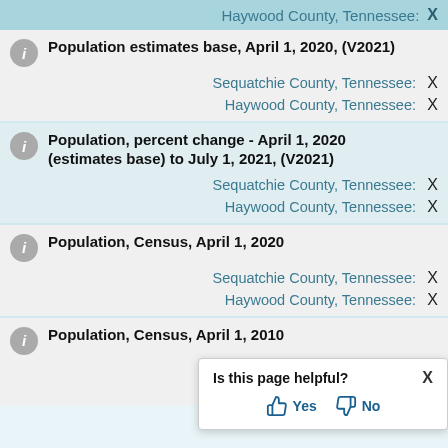Haywood County, Tennessee:  X
Population estimates base, April 1, 2020, (V2021)
Sequatchie County, Tennessee:  X
Haywood County, Tennessee:  X
Population, percent change - April 1, 2020 (estimates base) to July 1, 2021, (V2021)
Sequatchie County, Tennessee:  X
Haywood County, Tennessee:  X
Population, Census, April 1, 2020
Sequatchie County, Tennessee:  X
Haywood County, Tennessee:  X
Population, Census, April 1, 2010
Sequatchie Co...  X
Haywood Co...
[Figure (screenshot): Is this page helpful? popup with Yes and No thumbs buttons and X close button]